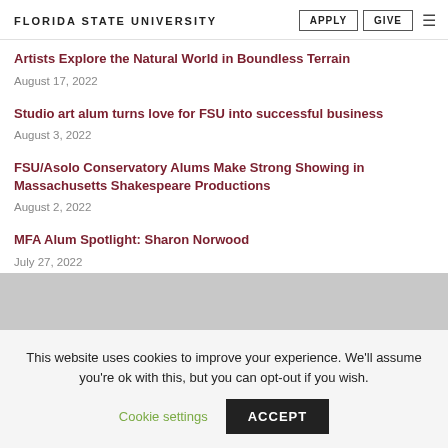FLORIDA STATE UNIVERSITY | APPLY | GIVE
Artists Explore the Natural World in Boundless Terrain
August 17, 2022
Studio art alum turns love for FSU into successful business
August 3, 2022
FSU/Asolo Conservatory Alums Make Strong Showing in Massachusetts Shakespeare Productions
August 2, 2022
MFA Alum Spotlight: Sharon Norwood
July 27, 2022
This website uses cookies to improve your experience. We'll assume you're ok with this, but you can opt-out if you wish.
Cookie settings | ACCEPT